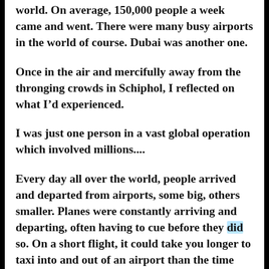world. On average, 150,000 people a week came and went. There were many busy airports in the world of course. Dubai was another one.
Once in the air and mercifully away from the thronging crowds in Schiphol, I reflected on what I’d experienced.
I was just one person in a vast global operation which involved millions....
Every day all over the world, people arrived and departed from airports, some big, others smaller. Planes were constantly arriving and departing, often having to cue before they did so. On a short flight, it could take you longer to taxi into and out of an airport than the time you spent in the air.